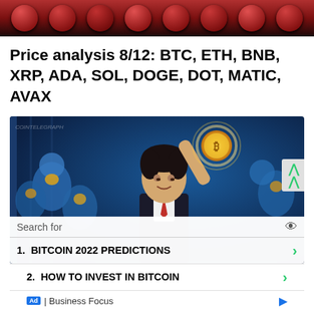[Figure (photo): Top banner image showing red/dark jello shots or small red desserts in a row on a dark background]
Price analysis 8/12: BTC, ETH, BNB, XRP, ADA, SOL, DOGE, DOT, MATIC, AVAX
[Figure (illustration): Illustrated man in suit holding up a glowing Bitcoin coin, with blue illustrated Bitcoin miners or robots in the background. Article illustration for cryptocurrency price analysis.]
Search for
1.  BITCOIN 2022 PREDICTIONS
2.  HOW TO INVEST IN BITCOIN
Ad | Business Focus